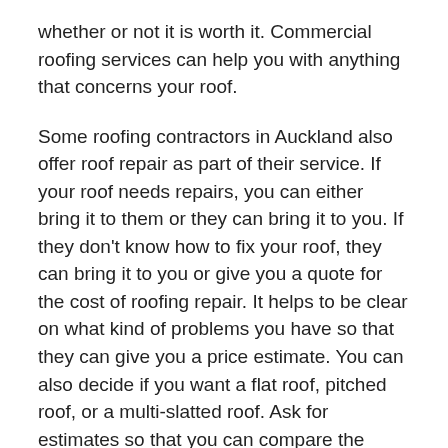whether or not it is worth it. Commercial roofing services can help you with anything that concerns your roof.
Some roofing contractors in Auckland also offer roof repair as part of their service. If your roof needs repairs, you can either bring it to them or they can bring it to you. If they don't know how to fix your roof, they can bring it to you or give you a quote for the cost of roofing repair. It helps to be clear on what kind of problems you have so that they can give you a price estimate. You can also decide if you want a flat roof, pitched roof, or a multi-slatted roof. Ask for estimates so that you can compare the prices.
When it comes to roofing repairs and new roof installations, roofing contractors in Auckland can handle just about any DIY job that you have on your mind. From brickwork restoration to tree removal to new roof